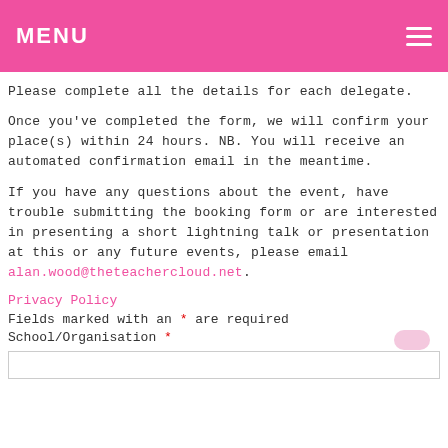MENU
Please complete all the details for each delegate.
Once you've completed the form, we will confirm your place(s) within 24 hours. NB. You will receive an automated confirmation email in the meantime.
If you have any questions about the event, have trouble submitting the booking form or are interested in presenting a short lightning talk or presentation at this or any future events, please email alan.wood@theteachercloud.net.
Privacy Policy
Fields marked with an * are required
School/Organisation *